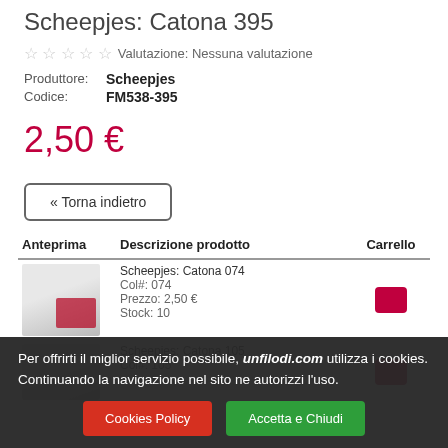Scheepjes: Catona 395
☆☆☆☆☆ Valutazione: Nessuna valutazione
Produttore: Scheepjes
Codice: FM538-395
2,50 €
« Torna indietro
| Anteprima | Descrizione prodotto | Carrello |
| --- | --- | --- |
| [image] | Scheepjes: Catona 074
Col#: 074
Prezzo: 2,50 €
Stock: 10 | [cart] |
| [image] | Scheepjes: Catona 105
Col#: 105 | [cart] |
Per offrirti il miglior servizio possibile, unfilodi.com utilizza i cookies. Continuando la navigazione nel sito ne autorizzi l'uso.
Cookies Policy
Accetta e Chiudi